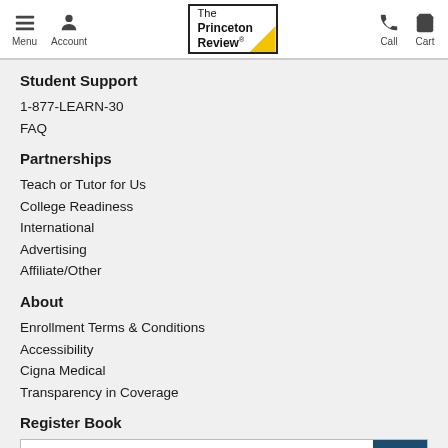Menu | Account | The Princeton Review | Call | Cart
Student Support
1-877-LEARN-30
FAQ
Partnerships
Teach or Tutor for Us
College Readiness
International
Advertising
Affiliate/Other
About
Enrollment Terms & Conditions
Accessibility
Cigna Medical
Transparency in Coverage
Register Book
Enter ISBN-13 #
Hours
Mon-Fri 9AM-10PM ET
Sat-Sun 9AM-8PM ET